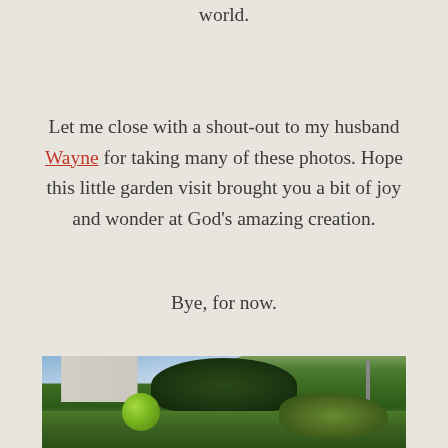world.
Let me close with a shout-out to my husband Wayne for taking many of these photos. Hope this little garden visit brought you a bit of joy and wonder at God’s amazing creation.
Bye, for now.
[Figure (photo): Garden photo showing lush green trees, a round green globe ornament, a pole, and a building in the background with blue sky visible.]